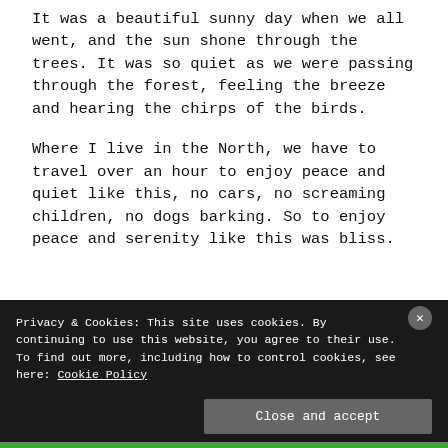It was a beautiful sunny day when we all went, and the sun shone through the trees. It was so quiet as we were passing through the forest, feeling the breeze and hearing the chirps of the birds.
Where I live in the North, we have to travel over an hour to enjoy peace and quiet like this, no cars, no screaming children, no dogs barking. So to enjoy peace and serenity like this was bliss.
Privacy & Cookies: This site uses cookies. By continuing to use this website, you agree to their use. To find out more, including how to control cookies, see here: Cookie Policy
Close and accept